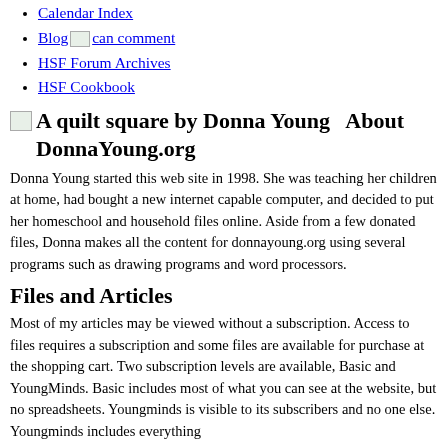Calendar Index
Blog [image] can comment
HSF Forum Archives
HSF Cookbook
A quilt square by Donna Young   About DonnaYoung.org
Donna Young started this web site in 1998. She was teaching her children at home, had bought a new internet capable computer, and decided to put her homeschool and household files online. Aside from a few donated files, Donna makes all the content for donnayoung.org using several programs such as drawing programs and word processors.
Files and Articles
Most of my articles may be viewed without a subscription. Access to files requires a subscription and some files are available for purchase at the shopping cart. Two subscription levels are available, Basic and YoungMinds. Basic includes most of what you can see at the website, but no spreadsheets. Youngminds is visible to its subscribers and no one else. Youngminds includes everything